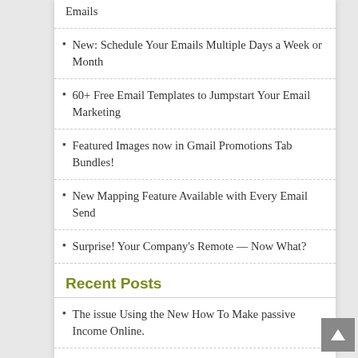Emails
New: Schedule Your Emails Multiple Days a Week or Month
60+ Free Email Templates to Jumpstart Your Email Marketing
Featured Images now in Gmail Promotions Tab Bundles!
New Mapping Feature Available with Every Email Send
Surprise! Your Company's Remote — Now What?
Recent Posts
The issue Using the New How To Make passive Income Online.